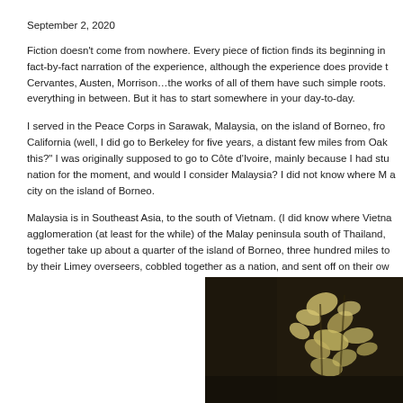September 2, 2020
Fiction doesn't come from nowhere. Every piece of fiction finds its beginning in fact-by-fact narration of the experience, although the experience does provide the Cervantes, Austen, Morrison…the works of all of them have such simple roots. everything in between. But it has to start somewhere in your day-to-day.
I served in the Peace Corps in Sarawak, Malaysia, on the island of Borneo, fro California (well, I did go to Berkeley for five years, a distant few miles from Oak this?" I was originally supposed to go to Côte d'Ivoire, mainly because I had stu nation for the moment, and would I consider Malaysia? I did not know where M a city on the island of Borneo.
Malaysia is in Southeast Asia, to the south of Vietnam. (I did know where Vietna agglomeration (at least for the while) of the Malay peninsula south of Thailand, together take up about a quarter of the island of Borneo, three hundred miles to by their Limey overseers, cobbled together as a nation, and sent off on their ow
[Figure (photo): Dark vintage-style photograph showing organic yellowish-white shapes (possibly flowers or foliage) against a very dark brown/black background.]